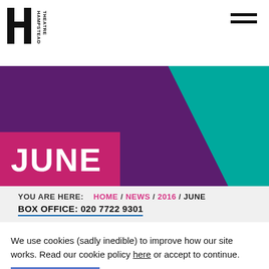[Figure (logo): Hampstead Theatre logo — black stylized H and T with rotated text 'HAMPSTEAD THEATRE']
[Figure (illustration): Hamburger / menu icon — two thick black horizontal lines in top-right corner]
[Figure (illustration): Decorative banner with purple left section, teal right angled section, and magenta/pink rectangle on lower-left containing the word JUNE in bold white capitals]
YOU ARE HERE: HOME / NEWS / 2016 / JUNE
BOX OFFICE: 020 7722 9301
We use cookies (sadly inedible) to improve how our site works. Read our cookie policy here or accept to continue.
ACCEPT